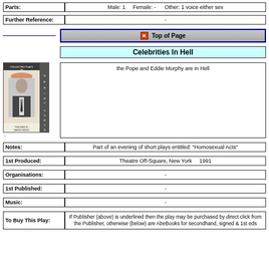| Field | Value |
| --- | --- |
| Parts: | Male: 1   Female: -   Other: 1 voice either sex |
| Further Reference: | - |
|  | Top of Page |
|  | Celebrities In Hell |
|  | the Pope and Eddie Murphy are in Hell |
| Notes: | Part of an evening of short plays entitled: "Homosexual Acts" |
| 1st Produced: | Theatre Off-Square, New York    1991 |
| Organisations: | - |
| 1st Published: | - |
| Music: | - |
| To Buy This Play: | If Publisher (above) is underlined then the play may be purchased by direct click from the Publisher, otherwise (below) are AbeBooks for secondhand, signed & 1st eds |